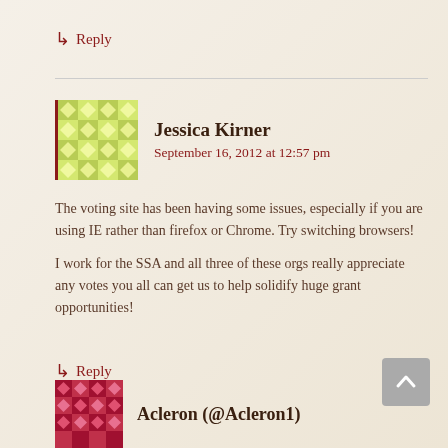↳ Reply
Jessica Kirner
September 16, 2012 at 12:57 pm
The voting site has been having some issues, especially if you are using IE rather than firefox or Chrome. Try switching browsers!
I work for the SSA and all three of these orgs really appreciate any votes you all can get us to help solidify huge grant opportunities!
↳ Reply
Acleron (@Acleron1)